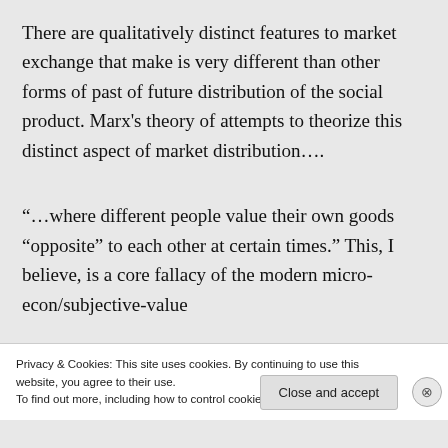There are qualitatively distinct features to market exchange that make is very different than other forms of past of future distribution of the social product. Marx's theory of attempts to theorize this distinct aspect of market distribution….
“…where different people value their own goods “opposite” to each other at certain times.” This, I believe, is a core fallacy of the modern micro-econ/subjective-value
Privacy & Cookies: This site uses cookies. By continuing to use this website, you agree to their use.
To find out more, including how to control cookies, see here: Cookie Policy
Close and accept